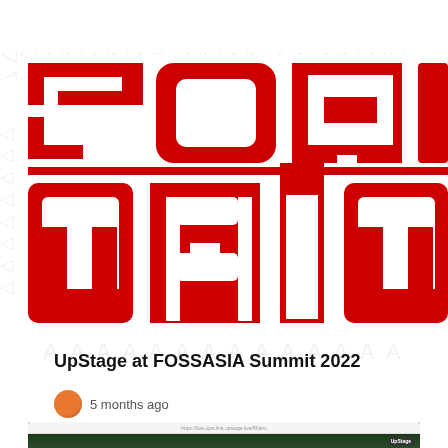[Figure (logo): FOSSASIA large red logo on white background, partially cropped showing FOSS on top row and ASIA on bottom row in bold red block letters]
UpStage at FOSSASIA Summit 2022
5 months ago
[Figure (screenshot): Browser screenshot showing UpStage application with colorful stage performance with figures and UpStage branding in top right]